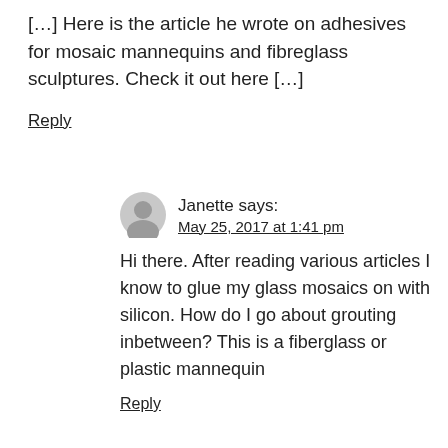[…] Here is the article he wrote on adhesives for mosaic mannequins and fibreglass sculptures. Check it out here […]
Reply
Janette says:
May 25, 2017 at 1:41 pm
Hi there. After reading various articles I know to glue my glass mosaics on with silicon. How do I go about grouting inbetween? This is a fiberglass or plastic mannequin
Reply